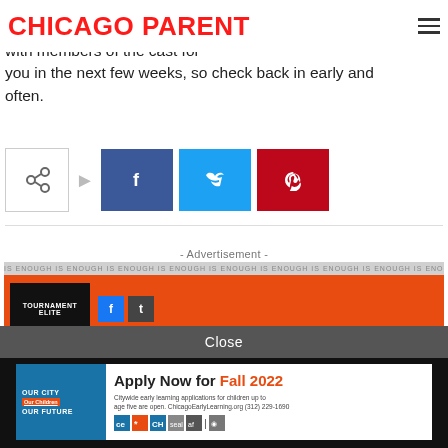CHICAGO PARENT
with members of the cast for you in the next few weeks, so check back in early and often.
[Figure (screenshot): Social sharing buttons: share icon with arrow, Facebook button, Twitter button, Pinterest button]
[Figure (screenshot): Advertisement banner with text 'IS ENOUGH IS ENOUGH IS ENOUGH IS ENOUGH IS ENOUGH IS ENOUGH IS ENOUGH IS ENOUGH IS ENOUGH' and orange background with social icons]
- Advertisement -
Close
[Figure (screenshot): Chicago Early Learning advertisement: Apply Now for Fall 2022. Citywide early learning applications for children up to age five are open. ChicagoEarlyLearning.org (312) 229-1690]